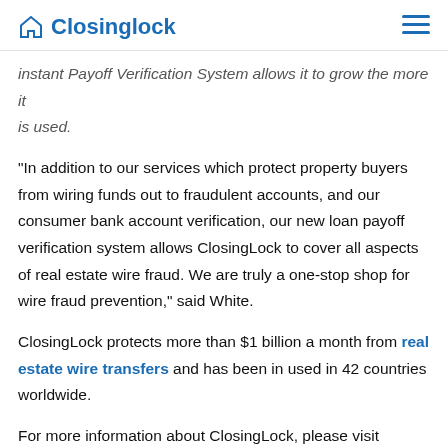Closinglock
Instant Payoff Verification System allows it to grow the more it is used.
“In addition to our services which protect property buyers from wiring funds out to fraudulent accounts, and our consumer bank account verification, our new loan payoff verification system allows ClosingLock to cover all aspects of real estate wire fraud. We are truly a one-stop shop for wire fraud prevention,” said White.
ClosingLock protects more than $1 billion a month from real estate wire transfers and has been in used in 42 countries worldwide.
For more information about ClosingLock, please visit